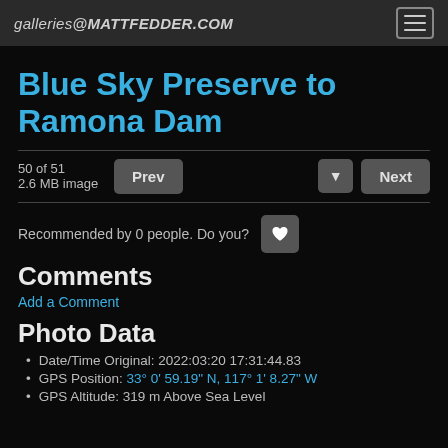galleries@MATTFEDDER.COM
Blue Sky Preserve to Ramona Dam
50 of 51
2.6 MB image
Recommended by 0 people. Do you?
Comments
Add a Comment
Photo Data
Date/Time Original: 2022:03:20 17:31:44.83
GPS Position: 33° 0' 59.19" N, 117° 1' 8.27" W
GPS Altitude: 319 m Above Sea Level